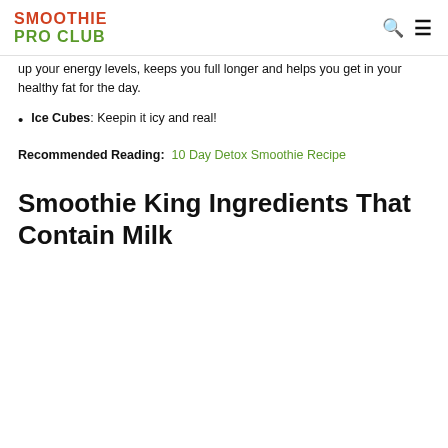SMOOTHIE PRO CLUB
up your energy levels, keeps you full longer and helps you get in your healthy fat for the day.
Ice Cubes: Keepin it icy and real!
Recommended Reading:  10 Day Detox Smoothie Recipe
Smoothie King Ingredients That Contain Milk